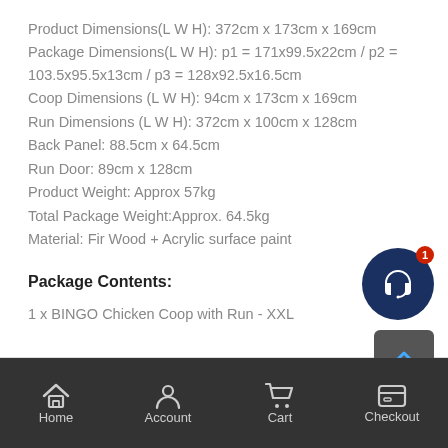Product Dimensions(L W H): 372cm x 173cm x 169cm
Package Dimensions(L W H): p1 = 171x99.5x22cm / p2 = 103.5x95.5x13cm / p3 = 128x92.5x16.5cm
Coop Dimensions (L W H): 94cm x 173cm x 169cm
Run Dimensions (L W H): 372cm x 100cm x 128cm
Back Panel: 88.5cm x 64.5cm
Run Door: 89cm x 128cm
Product Weight: Approx 57kg
Total Package Weight:Approx. 64.5kg
Material: Fir Wood + Acrylic surface paint
Package Contents:
1 x BINGO Chicken Coop with Run - XXL
Home  Account  Cart  Checkout